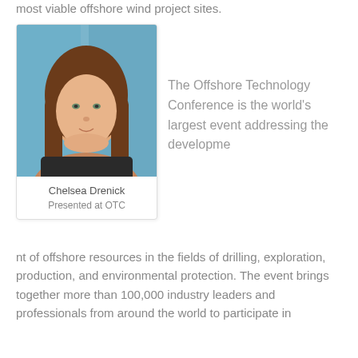most viable offshore wind project sites.
[Figure (photo): Portrait photo of Chelsea Drenick with caption 'Chelsea Drenick' and 'Presented at OTC']
The Offshore Technology Conference is the world's largest event addressing the development of offshore resources in the fields of drilling, exploration, production, and environmental protection. The event brings together more than 100,000 industry leaders and professionals from around the world to participate in